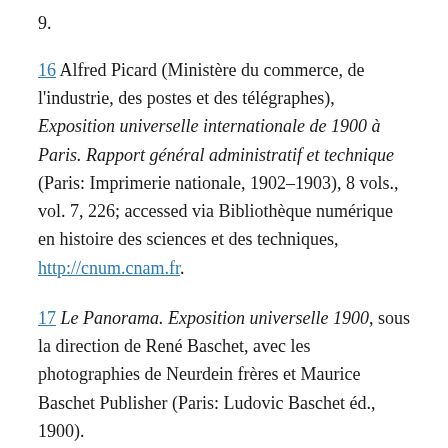9.
16 Alfred Picard (Ministère du commerce, de l'industrie, des postes et des télégraphes), Exposition universelle internationale de 1900 à Paris. Rapport général administratif et technique (Paris: Imprimerie nationale, 1902–1903), 8 vols., vol. 7, 226; accessed via Bibliothèque numérique en histoire des sciences et des techniques, http://cnum.cnam.fr.
17 Le Panorama. Exposition universelle 1900, sous la direction de René Baschet, avec les photographies de Neurdein frères et Maurice Baschet Publisher (Paris: Ludovic Baschet éd., 1900).